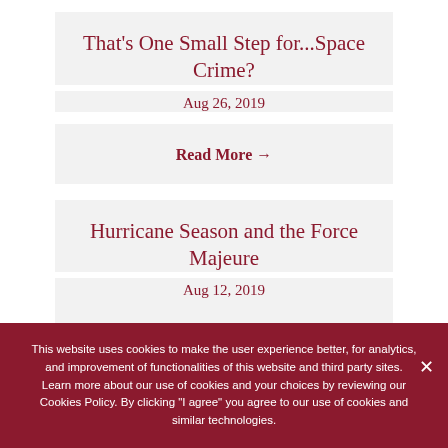That's One Small Step for...Space Crime?
Aug 26, 2019
Read More →
Hurricane Season and the Force Majeure
Aug 12, 2019
This website uses cookies to make the user experience better, for analytics, and improvement of functionalities of this website and third party sites. Learn more about our use of cookies and your choices by reviewing our Cookies Policy. By clicking "I agree" you agree to our use of cookies and similar technologies.